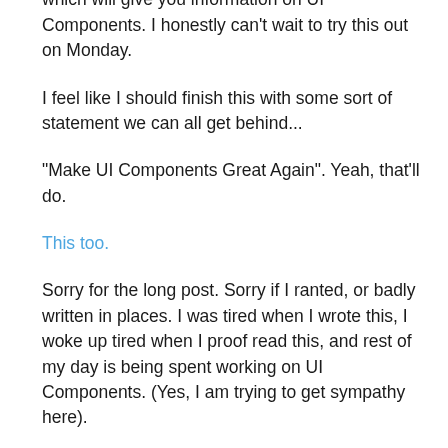extensions such as MageSpecialist DevTools which will give you information on UI Components. I honestly can't wait to try this out on Monday.
I feel like I should finish this with some sort of statement we can all get behind...
"Make UI Components Great Again". Yeah, that'll do.
This too.
Sorry for the long post. Sorry if I ranted, or badly written in places. I was tired when I wrote this, I woke up tired when I proof read this, and rest of my day is being spent working on UI Components. (Yes, I am trying to get sympathy here).